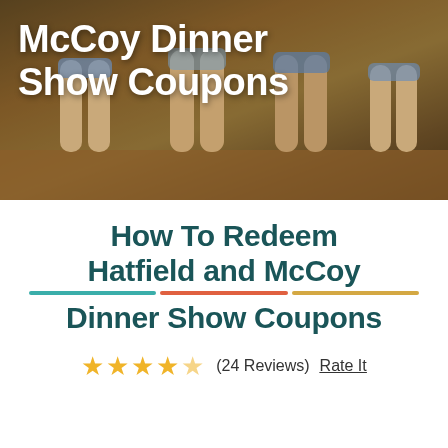[Figure (photo): Hero image showing legs of performers at Hatfield and McCoy Dinner Show on a wooden stage with text overlay 'McCoy Dinner Show Coupons' in white bold font]
How To Redeem Hatfield and McCoy Dinner Show Coupons
★★★★½ (24 Reviews) Rate It